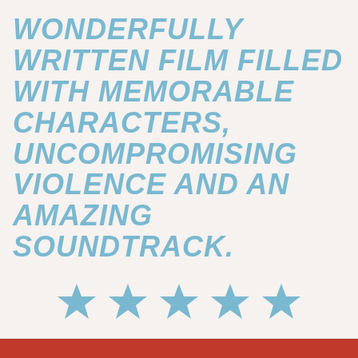WONDERFULLY WRITTEN FILM FILLED WITH MEMORABLE CHARACTERS, UNCOMPROMISING VIOLENCE AND AN AMAZING SOUNDTRACK.
[Figure (infographic): Five blue star icons in a horizontal row representing a 5-star rating]
Sponsored Content
Privacy & Cookies: This site uses cookies. By continuing to use this website, you agree to their use.
To find out more, including how to control cookies, see here: Cookie Policy
Close and accept